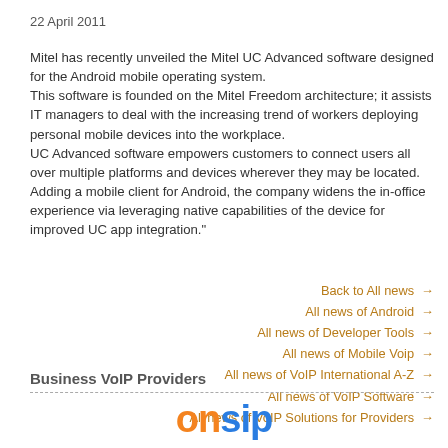22 April 2011
Mitel has recently unveiled the Mitel UC Advanced software designed for the Android mobile operating system.
This software is founded on the Mitel Freedom architecture; it assists IT managers to deal with the increasing trend of workers deploying personal mobile devices into the workplace.
UC Advanced software empowers customers to connect users all over multiple platforms and devices wherever they may be located.
Adding a mobile client for Android, the company widens the in-office experience via leveraging native capabilities of the device for improved UC app integration."
Back to All news →
All news of Android →
All news of Developer Tools →
All news of Mobile Voip →
All news of VoIP International A-Z →
All news of VoIP Software →
All news of VoIP Solutions for Providers →
Business VoIP Providers
[Figure (logo): OnSIP logo in orange and blue bold text]